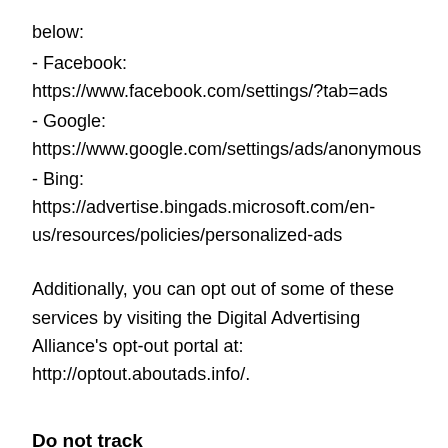below:
- Facebook: https://www.facebook.com/settings/?tab=ads
- Google: https://www.google.com/settings/ads/anonymous
- Bing: https://advertise.bingads.microsoft.com/en-us/resources/policies/personalized-ads
Additionally, you can opt out of some of these services by visiting the Digital Advertising Alliance’s opt-out portal at: http://optout.aboutads.info/.
Do not track
Please note that we do not alter our Site’s data collection and use practices when we see a Do Not Track signal from your browser.